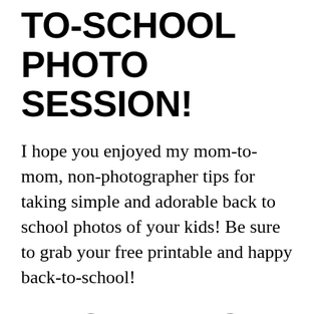TO-SCHOOL PHOTO SESSION!
I hope you enjoyed my mom-to-mom, non-photographer tips for taking simple and adorable back to school photos of your kids! Be sure to grab your free printable and happy back-to-school!
FIRST DAY OF SCHOOL POSTERS FOR HOMESCHOOL